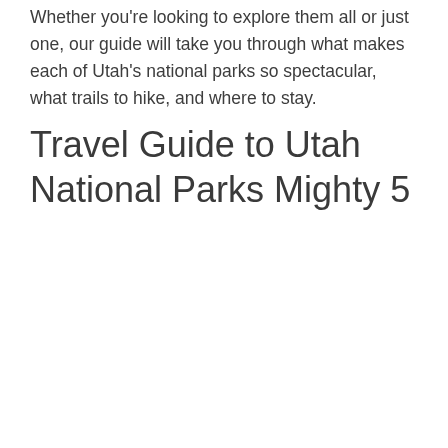Whether you're looking to explore them all or just one, our guide will take you through what makes each of Utah's national parks so spectacular, what trails to hike, and where to stay.
Travel Guide to Utah National Parks Mighty 5